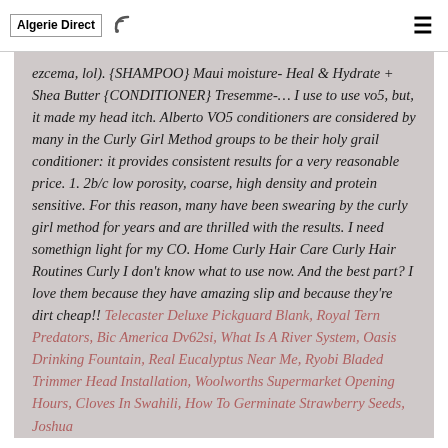Algerie Direct
ezcema, lol). {SHAMPOO} Maui moisture- Heal & Hydrate + Shea Butter {CONDITIONER} Tresemme-… I use to use vo5, but, it made my head itch. Alberto VO5 conditioners are considered by many in the Curly Girl Method groups to be their holy grail conditioner: it provides consistent results for a very reasonable price. 1. 2b/c low porosity, coarse, high density and protein sensitive. For this reason, many have been swearing by the curly girl method for years and are thrilled with the results. I need somethign light for my CO. Home Curly Hair Care Curly Hair Routines Curly I don't know what to use now. And the best part? I love them because they have amazing slip and because they're dirt cheap!! Telecaster Deluxe Pickguard Blank, Royal Tern Predators, Bic America Dv62si, What Is A River System, Oasis Drinking Fountain, Real Eucalyptus Near Me, Ryobi Bladed Trimmer Head Installation, Woolworths Supermarket Opening Hours, Cloves In Swahili, How To Germinate Strawberry Seeds, Joshua